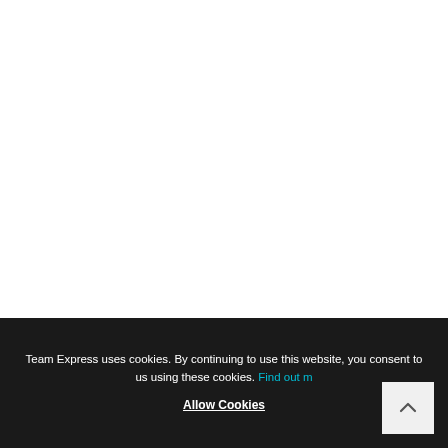Team Express uses cookies. By continuing to use this website, you consent to us using these cookies. Find out more
Allow Cookies